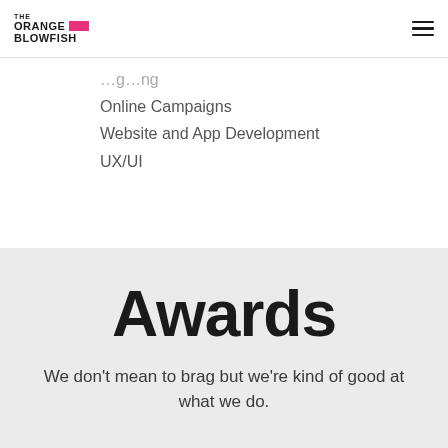The Orange Blowfish
(partially visible navigation item)
Online Campaigns
Website and App Development
UX/UI
Awards
We don't mean to brag but we're kind of good at what we do.